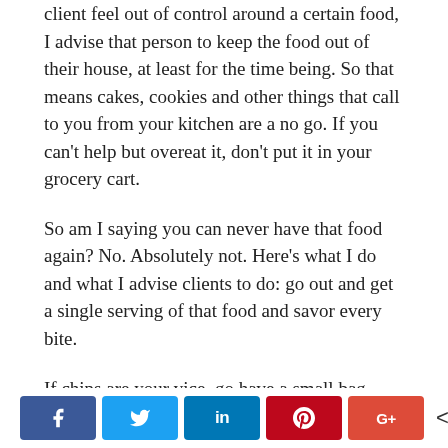client feel out of control around a certain food, I advise that person to keep the food out of their house, at least for the time being. So that means cakes, cookies and other things that call to you from your kitchen are a no go. If you can't help but overeat it, don't put it in your grocery cart.
So am I saying you can never have that food again? No. Absolutely not. Here's what I do and what I advise clients to do: go out and get a single serving of that food and savor every bite.
If chips are your vice, go have a small bag every so often and eat the chips mindfully. Do they taste as
[Figure (infographic): Social share bar with Facebook (blue), Twitter (light blue), LinkedIn (dark blue), Pinterest (red), Google+ (orange-red) buttons, and a share count showing 133 SHARES]